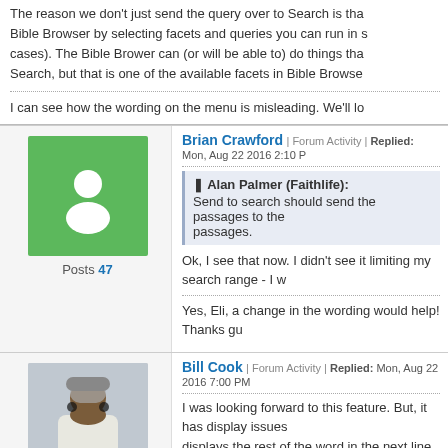The reason we don't just send the query over to Search is that Bible Browser by selecting facets and queries you can run in 3 cases). The Bible Brower can (or will be able to) do things that Search, but that is one of the available facets in Bible Browse...
I can see how the wording on the menu is misleading. We'll lo...
Brian Crawford | Forum Activity | Replied: Mon, Aug 22 2016 2:10 P
Alan Palmer (Faithlife): Send to search should send the passages to the... passages.
Ok, I see that now. I didn't see it limiting my search range - I w...
Yes, Eli, a change in the wording would help! Thanks gu...
Bill Cook | Forum Activity | Replied: Mon, Aug 22 2016 7:00 PM
I was looking forward to this feature. But, it has display issues... displays the rest of the word in the next line.
Bradley Grainger (Faithlife) | Forum Activity | Replied: Mon, Aug...